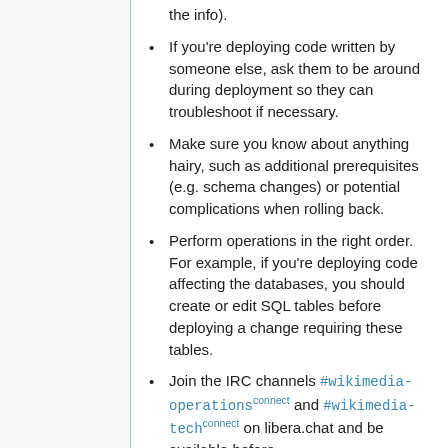the info).
If you're deploying code written by someone else, ask them to be around during deployment so they can troubleshoot if necessary.
Make sure you know about anything hairy, such as additional prerequisites (e.g. schema changes) or potential complications when rolling back.
Perform operations in the right order. For example, if you're deploying code affecting the databases, you should create or edit SQL tables before deploying a change requiring these tables.
Join the IRC channels #wikimedia-operations connect and #wikimedia-tech connect on libera.chat and be available before